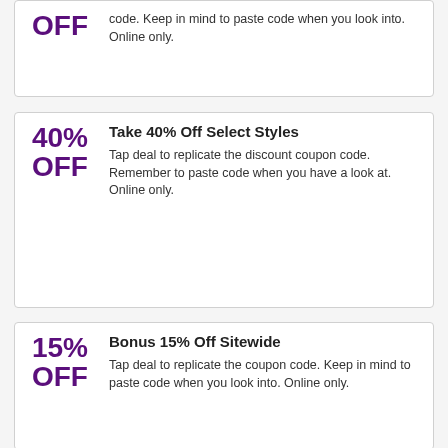OFF — code. Keep in mind to paste code when you look into. Online only.
Take 40% Off Select Styles
40% OFF — Tap deal to replicate the discount coupon code. Remember to paste code when you have a look at. Online only.
Bonus 15% Off Sitewide
15% OFF — Tap deal to replicate the coupon code. Keep in mind to paste code when you look into. Online only.